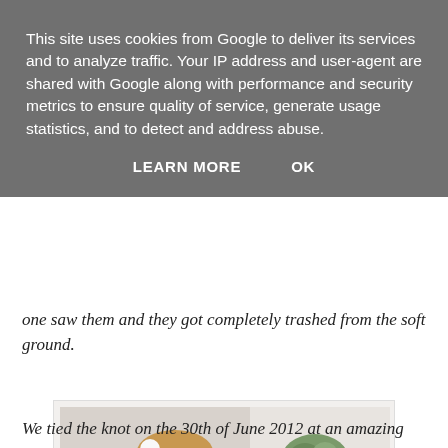This site uses cookies from Google to deliver its services and to analyze traffic. Your IP address and user-agent are shared with Google along with performance and security metrics to ensure quality of service, generate usage statistics, and to detect and address abuse.
LEARN MORE    OK
one saw them and they got completely trashed from the soft ground.
[Figure (photo): A young flower girl wearing a white dress with yellow daisy pattern and white flowers in her hair, standing in front of a bride in a white wedding dress holding a green bouquet.]
We tied the knot on the 30th of June 2012 at an amazing